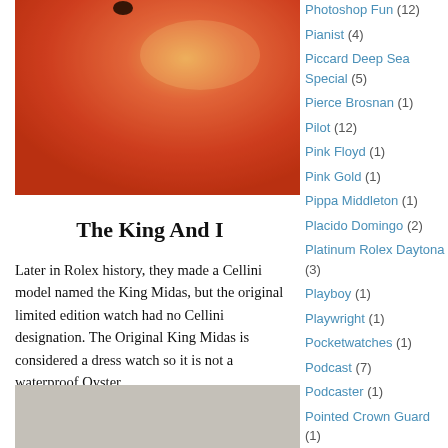[Figure (photo): Close-up photo of orange/red textured surface, likely a close-up of a watch or metallic surface with warm orange tones]
The King And I
Later in Rolex history, they made a Cellini model named the King Midas, but the original limited edition watch had no Cellini designation. The Original King Midas is considered a dress watch so it is not a waterproof Oyster.
[Figure (photo): Partially visible photo at the bottom of the page, appears to show a watch]
Photoshop Fun (12)
Pianist (4)
Piccard Deep Sea Special (5)
Pierce Brosnan (1)
Pilot (12)
Pink Floyd (1)
Pink Gold (1)
Pippa Middleton (1)
Placido Domingo (2)
Platinum Rolex Daytona (3)
Playboy (1)
Playwright (1)
Pocketwatches (1)
Podcast (7)
Podcaster (1)
Pointed Crown Guard (1)